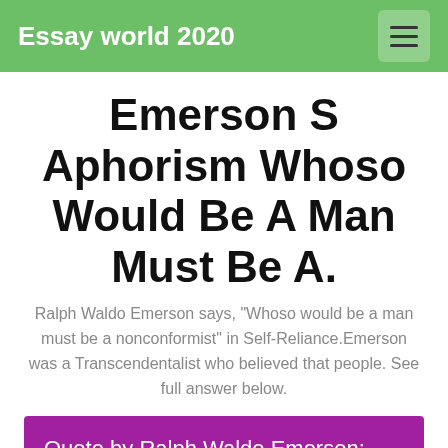Essay world 2020
Emerson S Aphorism Whoso Would Be A Man Must Be A.
Ralph Waldo Emerson says, "Whoso would be a man must be a nonconformist" in Self-Reliance.Emerson was a Transcendentalist who believed that people. See full answer below.
Quote by Ralph Waldo Emerson: “Whoso would be a man, must.
Quotes from Ralph Waldo Emerson at quotegeek - We ought to celebrate this hour by expressions of manly joy.